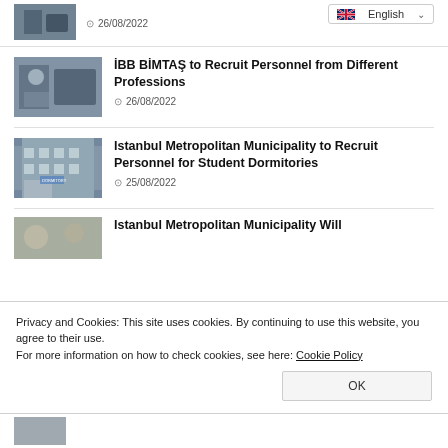[Figure (photo): Small thumbnail image of workers/factory scene]
26/08/2022
English (language selector dropdown)
[Figure (photo): Thumbnail image of two people shaking hands in business setting]
İBB BİMTAŞ to Recruit Personnel from Different Professions
26/08/2022
[Figure (photo): Thumbnail image of a building / student dormitory]
Istanbul Metropolitan Municipality to Recruit Personnel for Student Dormitories
25/08/2022
[Figure (photo): Thumbnail image of students/children]
Istanbul Metropolitan Municipality Will
Privacy and Cookies: This site uses cookies. By continuing to use this website, you agree to their use.
For more information on how to check cookies, see here: Cookie Policy
OK